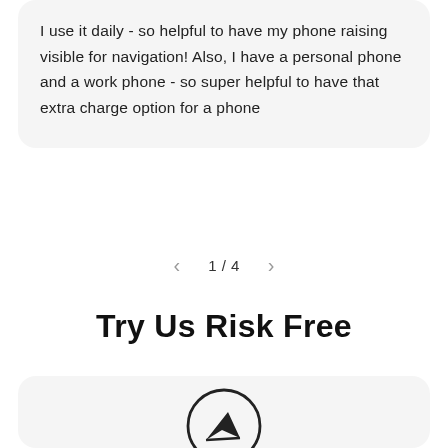I use it daily - so helpful to have my phone raising visible for navigation! Also, I have a personal phone and a work phone - so super helpful to have that extra charge option for a phone
1 / 4
Try Us Risk Free
[Figure (illustration): Bottom card with a circular icon featuring an arrow/send symbol, partially visible]